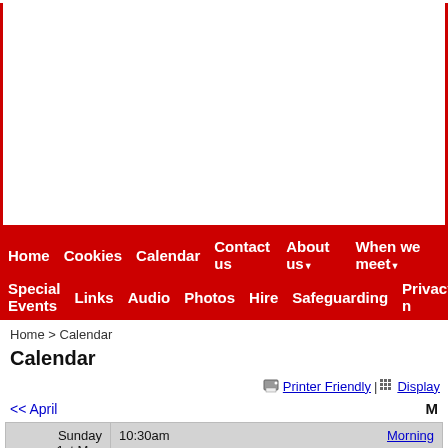[Figure (screenshot): Red header banner area of a church website, white interior space]
Home  Cookies  Calendar  Contact us  About us ▼  When we meet ▼
Special Events  Links  Audio  Photos  Hire  Safeguarding  Privacy n
Home > Calendar
Calendar
Printer Friendly | Display
<< April   M
| Date | Time | Event |
| --- | --- | --- |
| Sunday
1st May
2022 | 10:30am | Morning ... |
|  | Worship is the central theme of God's kingdom. M more freedom as we meet together. Masks are no removed. The main focus as we meet together... |  |